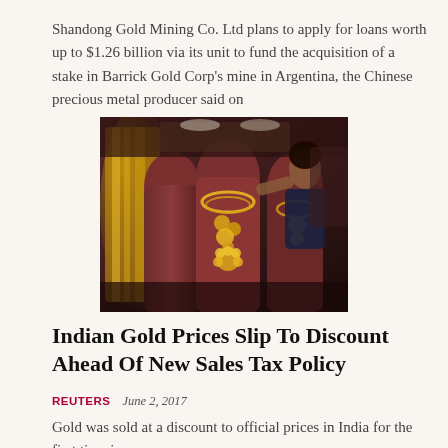Shandong Gold Mining Co. Ltd plans to apply for loans worth up to $1.26 billion via its unit to fund the acquisition of a stake in Barrick Gold Corp's mine in Argentina, the Chinese precious metal producer said on
[Figure (photo): Gold jewelry on display mannequin busts in a jewelry store, with a woman in the background examining a necklace.]
Indian Gold Prices Slip To Discount Ahead Of New Sales Tax Policy
REUTERS   June 2, 2017
Gold was sold at a discount to official prices in India for the first time in